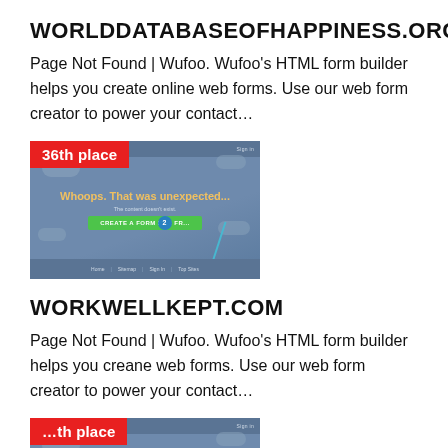WORLDDATABASEOFHAPPINESS.ORG
Page Not Found | Wufoo. Wufoo’s HTML form builder helps you create online web forms. Use our web form creator to power your contact…
[Figure (screenshot): Screenshot of a Wufoo 404 error page with '36th place' badge overlay. Shows 'Whoops, That was unexpected...' error message with a green 'CREATE A FORM FOR FR...' button.]
WORKWELLKEPT.COM
Page Not Found | Wufoo. Wufoo’s HTML form builder helps you create online web forms. Use our web form creator to power your contact…
[Figure (screenshot): Screenshot of a Wufoo 404 error page with place badge overlay (partially obscured). Shows same Wufoo error page layout.]